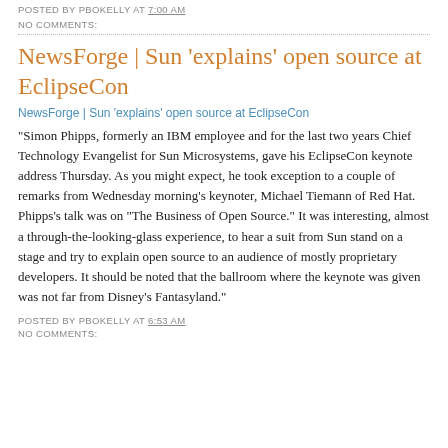POSTED BY PBOKELLY AT 7:00 AM
NO COMMENTS:
NewsForge | Sun 'explains' open source at EclipseCon
NewsForge | Sun 'explains' open source at EclipseCon
"Simon Phipps, formerly an IBM employee and for the last two years Chief Technology Evangelist for Sun Microsystems, gave his EclipseCon keynote address Thursday. As you might expect, he took exception to a couple of remarks from Wednesday morning's keynoter, Michael Tiemann of Red Hat. Phipps's talk was on "The Business of Open Source." It was interesting, almost a through-the-looking-glass experience, to hear a suit from Sun stand on a stage and try to explain open source to an audience of mostly proprietary developers. It should be noted that the ballroom where the keynote was given was not far from Disney's Fantasyland."
POSTED BY PBOKELLY AT 6:53 AM
NO COMMENTS: